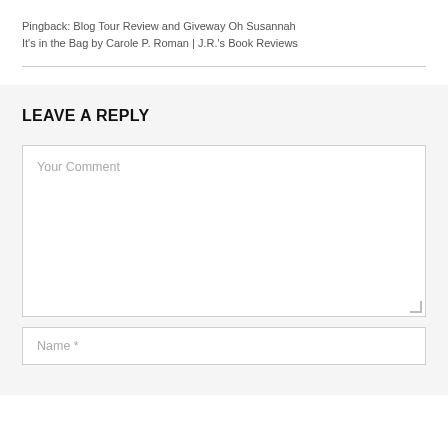Pingback: Blog Tour Review and Giveway Oh Susannah It's in the Bag by Carole P. Roman | J.R.'s Book Reviews
LEAVE A REPLY